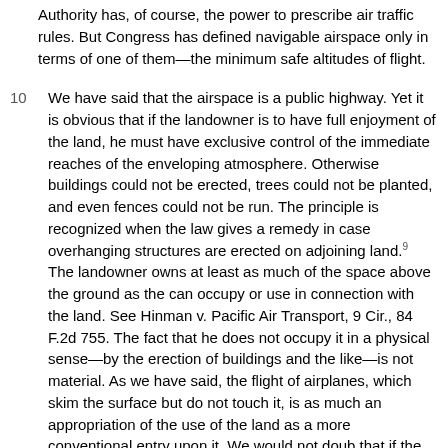Authority has, of course, the power to prescribe air traffic rules. But Congress has defined navigable airspace only in terms of one of them—the minimum safe altitudes of flight.
10  We have said that the airspace is a public highway. Yet it is obvious that if the landowner is to have full enjoyment of the land, he must have exclusive control of the immediate reaches of the enveloping atmosphere. Otherwise buildings could not be erected, trees could not be planted, and even fences could not be run. The principle is recognized when the law gives a remedy in case overhanging structures are erected on adjoining land.9 The landowner owns at least as much of the space above the ground as the can occupy or use in connection with the land. See Hinman v. Pacific Air Transport, 9 Cir., 84 F.2d 755. The fact that he does not occupy it in a physical sense—by the erection of buildings and the like—is not material. As we have said, the flight of airplanes, which skim the surface but do not touch it, is as much an appropriation of the use of the land as a more conventional entry upon it. We would not doub that if the United States erected an elevated railway over respondents' land at the precise altitude where its planes now fly, there would be a partial taking, even though none of the supports of the structure rested on the land.10 The reason is that there would be an intrusion so